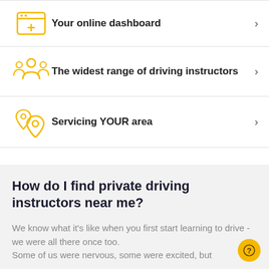Your online dashboard
The widest range of driving instructors
Servicing YOUR area
How do I find private driving instructors near me?
We know what it's like when you first start learning to drive - we were all there once too. Some of us were nervous, some were excited, but